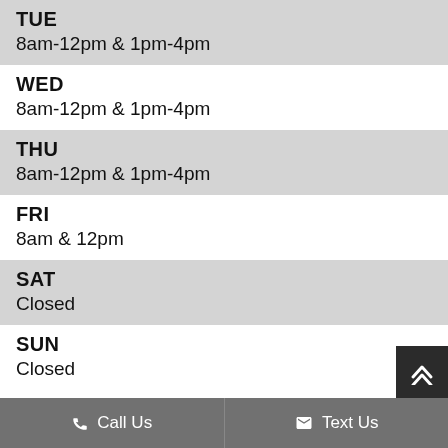TUE
8am-12pm & 1pm-4pm
WED
8am-12pm & 1pm-4pm
THU
8am-12pm & 1pm-4pm
FRI
8am & 12pm
SAT
Closed
SUN
Closed
Call Us   Text Us